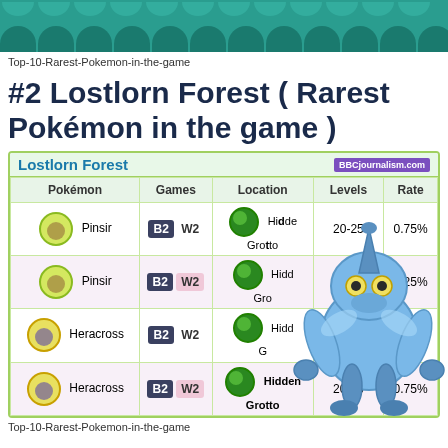[Figure (illustration): Teal decorative header banner with arch/wave pattern]
Top-10-Rarest-Pokemon-in-the-game
#2 Lostlorn Forest ( Rarest Pokémon in the game )
| Pokémon | Games | Location | Levels | Rate |
| --- | --- | --- | --- | --- |
| Pinsir | B2 W2 | Hidden Grotto | 20-25 | 0.75% |
| Pinsir | B2 W2 | Hidden Grotto | 20-25 | 0.25% |
| Heracross | B2 W2 | Hidden Grotto | 20-25 | 0.25% |
| Heracross | B2 W2 | Hidden Grotto | 20-25 | 0.75% |
[Figure (illustration): Heracross Pokémon character illustration overlaid on the table]
Top-10-Rarest-Pokemon-in-the-game